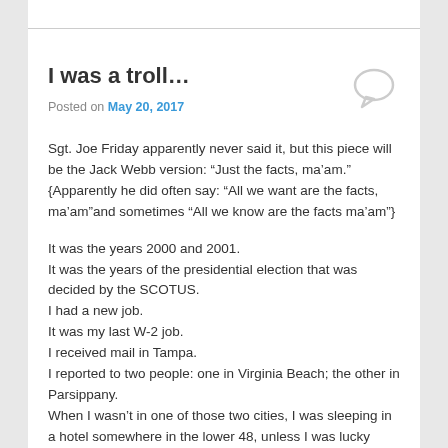I was a troll…
Posted on May 20, 2017
Sgt. Joe Friday apparently never said it, but this piece will be the Jack Webb version: “Just the facts, ma’am.” {Apparently he did often say: “All we want are the facts, ma’am”and sometimes “All we know are the facts ma’am”}
It was the years 2000 and 2001.
It was the years of the presidential election that was decided by the SCOTUS.
I had a new job.
It was my last W-2 job.
I received mail in Tampa.
I reported to two people: one in Virginia Beach; the other in Parsippany.
When I wasn’t in one of those two cities, I was sleeping in a hotel somewhere in the lower 48, unless I was lucky